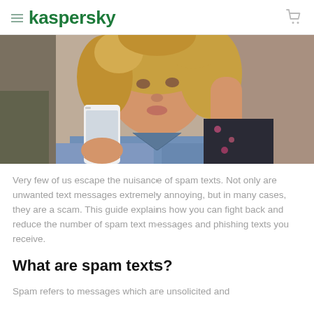kaspersky
[Figure (photo): Young woman with curly hair looking at her smartphone, leaning against a wall, wearing a denim jacket and floral top.]
Very few of us escape the nuisance of spam texts. Not only are unwanted text messages extremely annoying, but in many cases, they are a scam. This guide explains how you can fight back and reduce the number of spam text messages and phishing texts you receive.
What are spam texts?
Spam refers to messages which are unsolicited and